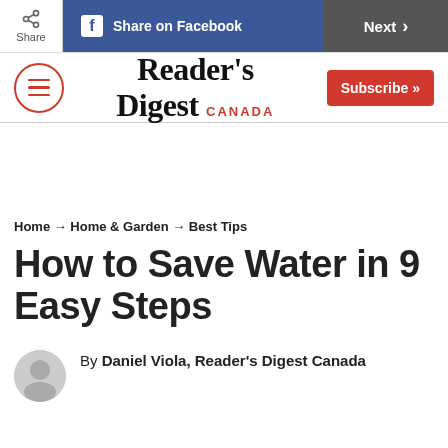Share | Share on Facebook | Next
[Figure (logo): Reader's Digest Canada logo with hamburger menu and Subscribe button]
Home → Home & Garden → Best Tips
How to Save Water in 9 Easy Steps
By Daniel Viola, Reader's Digest Canada
Updated: Dec 27, 2023